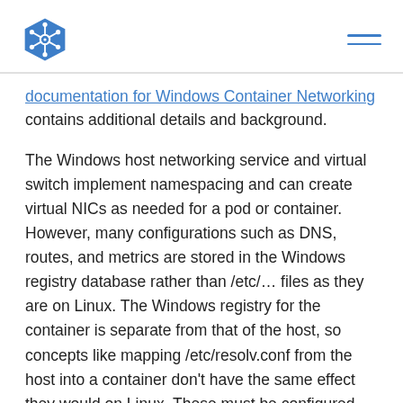[Kubernetes logo] [hamburger menu]
documentation for Windows Container Networking contains additional details and background.
The Windows host networking service and virtual switch implement namespacing and can create virtual NICs as needed for a pod or container. However, many configurations such as DNS, routes, and metrics are stored in the Windows registry database rather than /etc/… files as they are on Linux. The Windows registry for the container is separate from that of the host, so concepts like mapping /etc/resolv.conf from the host into a container don't have the same effect they would on Linux. These must be configured using Windows APIs run in the context of that container. Therefore CNI implementations need to call the HNS instead of relying on file mappings to pass network details into